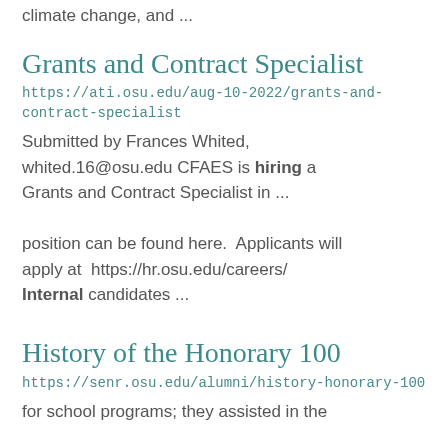climate change, and ...
Grants and Contract Specialist
https://ati.osu.edu/aug-10-2022/grants-and-contract-specialist
Submitted by Frances Whited, whited.16@osu.edu CFAES is hiring a Grants and Contract Specialist in ... position can be found here.  Applicants will apply at  https://hr.osu.edu/careers/ Internal candidates ...
History of the Honorary 100
https://senr.osu.edu/alumni/history-honorary-100
for school programs; they assisted in the